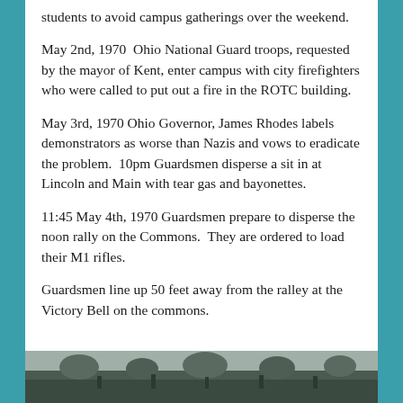students to avoid campus gatherings over the weekend.
May 2nd, 1970  Ohio National Guard troops, requested by the mayor of Kent, enter campus with city firefighters who were called to put out a fire in the ROTC building.
May 3rd, 1970 Ohio Governor, James Rhodes labels demonstrators as worse than Nazis and vows to eradicate the problem.  10pm Guardsmen disperse a sit in at Lincoln and Main with tear gas and bayonettes.
11:45 May 4th, 1970 Guardsmen prepare to disperse the noon rally on the Commons.  They are ordered to load their M1 rifles.
Guardsmen line up 50 feet away from the ralley at the Victory Bell on the commons.
[Figure (photo): Black and white photograph showing a scene on the Kent State campus commons area.]